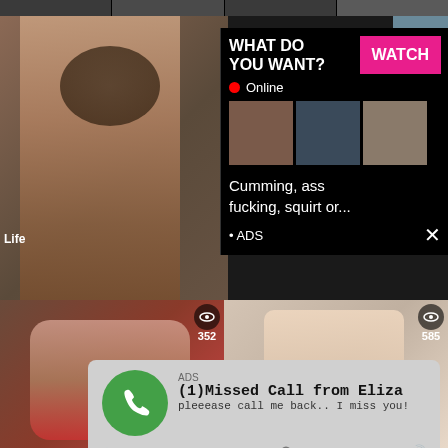[Figure (screenshot): Adult content website screenshot showing video thumbnails in a grid layout with overlaid advertisements]
WHAT DO YOU WANT?
WATCH
Online
Cumming, ass fucking, squirt or...
• ADS
ADS
(1)Missed Call from Eliza
pleeease call me back.. I miss you!
0:00
3:23
0:46
561
352
585